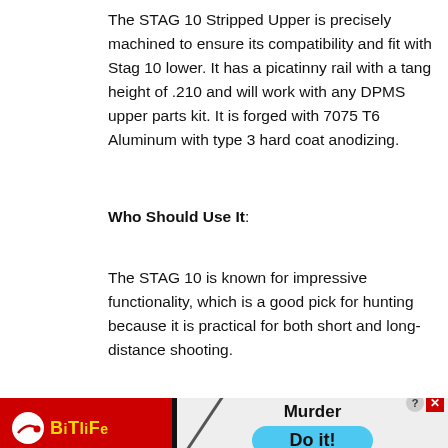The STAG 10 Stripped Upper is precisely machined to ensure its compatibility and fit with Stag 10 lower. It has a picatinny rail with a tang height of .210 and will work with any DPMS upper parts kit. It is forged with 7075 T6 Aluminum with type 3 hard coat anodizing.
Who Should Use It:
The STAG 10 is known for impressive functionality, which is a good pick for hunting because it is practical for both short and long-distance shooting.
[Figure (screenshot): Advertisement banner: Close X button top right, BitLife app ad with red background showing logo and 'Murder Do it!' call to action button on light background]